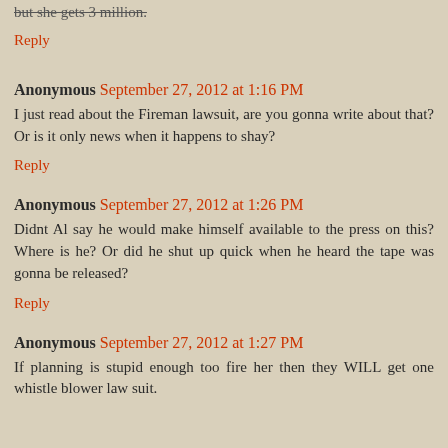but she gets 3 million.
Reply
Anonymous  September 27, 2012 at 1:16 PM
I just read about the Fireman lawsuit, are you gonna write about that? Or is it only news when it happens to shay?
Reply
Anonymous  September 27, 2012 at 1:26 PM
Didnt Al say he would make himself available to the press on this? Where is he? Or did he shut up quick when he heard the tape was gonna be released?
Reply
Anonymous  September 27, 2012 at 1:27 PM
If planning is stupid enough too fire her then they WILL get one whistle blower law suit.